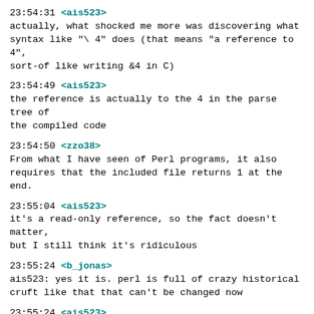23:54:31 <ais523>
actually, what shocked me more was discovering what syntax like "\ 4" does (that means "a reference to 4", sort-of like writing &4 in C)
23:54:49 <ais523>
the reference is actually to the 4 in the parse tree of the compiled code
23:54:50 <zzo38>
From what I have seen of Perl programs, it also requires that the included file returns 1 at the end.
23:55:04 <ais523>
it's a read-only reference, so the fact doesn't matter, but I still think it's ridiculous
23:55:24 <b_jonas>
ais523: yes it is. perl is full of crazy historical cruft like that that can't be changed now
23:55:24 <ais523>
zzo38: "require" errors out if the required file doesn't evaluate to a truthy value
23:55:35 <ais523>
any truthy value can be used, but 1 is traditional
23:56:07 <ais523>
b_jonas: well, it's useful syntax, and thinking about it, there's no particular reason /not/ to do it like that